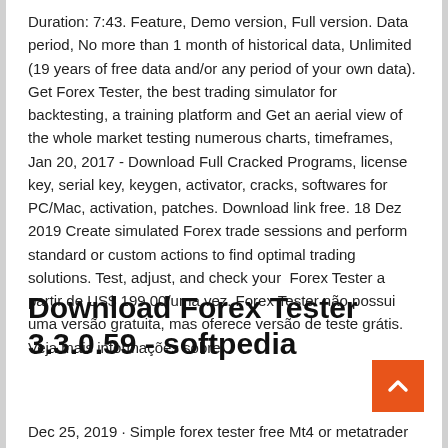Duration: 7:43. Feature, Demo version, Full version. Data period, No more than 1 month of historical data, Unlimited (19 years of free data and/or any period of your own data). Get Forex Tester, the best trading simulator for backtesting, a training platform and Get an aerial view of the whole market testing numerous charts, timeframes,  Jan 20, 2017 - Download Full Cracked Programs, license key, serial key, keygen, activator, cracks, softwares for PC/Mac, activation, patches. Download link free. 18 Dez 2019 Create simulated Forex trade sessions and perform standard or custom actions to find optimal trading solutions. Test, adjust, and check your  Forex Tester a partir de US$ 199,00/uma vez. Forex Tester não possui uma versão gratuita, mas oferece versão de teste grátis. Veja mais informações sobre
Download Forex Tester 3.3.0.59 - softpedia
Dec 25, 2019 · Simple forex tester free Mt4 or metatrader four is